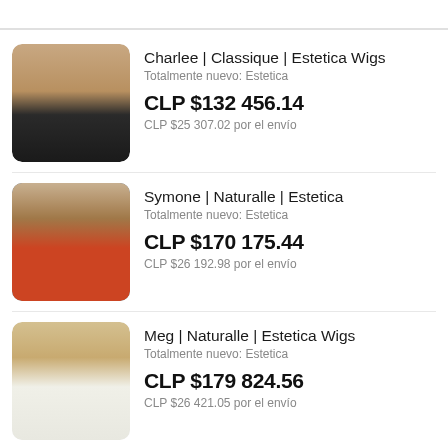[Figure (photo): Product listing image of Charlee wig - woman with short brown hair wearing black top]
Charlee | Classique | Estetica Wigs
Totalmente nuevo: Estetica
CLP $132 456.14
CLP $25 307.02 por el envío
[Figure (photo): Product listing image of Symone wig - woman with short blonde hair wearing orange/red top]
Symone | Naturalle | Estetica
Totalmente nuevo: Estetica
CLP $170 175.44
CLP $26 192.98 por el envío
[Figure (photo): Product listing image of Meg wig - woman with short blonde wavy hair wearing striped top]
Meg | Naturalle | Estetica Wigs
Totalmente nuevo: Estetica
CLP $179 824.56
CLP $26 421.05 por el envío